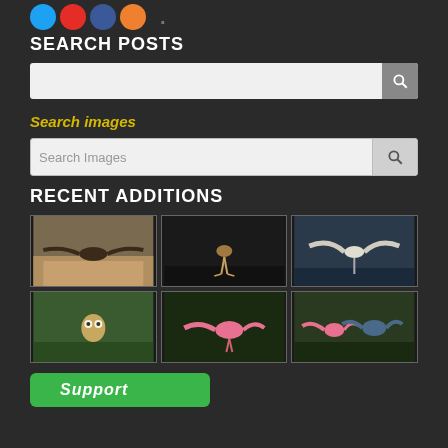[Figure (screenshot): Social media icon buttons: Twitter (blue circle), YouTube (red circle), Facebook (dark blue circle), RSS (orange circle), and a dot separator]
SEARCH POSTS
[Figure (screenshot): Search bar with magnifying glass icon on grey background]
Search images
[Figure (screenshot): Search Images input bar with placeholder text 'Search Images' and a magnifying glass button]
RECENT ADDITIONS
[Figure (photo): Grid of 6 bird photos: osprey in flight, shorebird standing, heron spreading wings, burrowing owl in grass, roseate spoonbill, two spoonbills/herons in water]
[Figure (screenshot): Green 'Support' button at bottom]